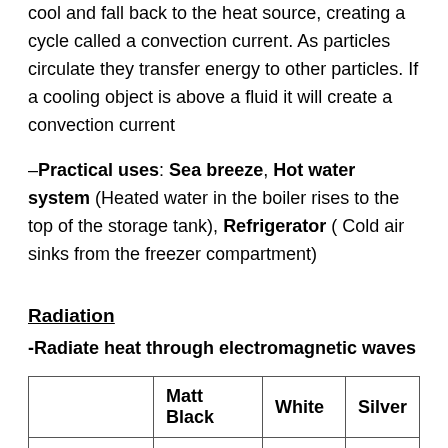cool and fall back to the heat source, creating a cycle called a convection current. As particles circulate they transfer energy to other particles. If a cooling object is above a fluid it will create a convection current
–Practical uses: Sea breeze, Hot water system (Heated water in the boiler rises to the top of the storage tank), Refrigerator ( Cold air sinks from the freezer compartment)
Radiation
-Radiate heat through electromagnetic waves
|  | Matt Black | White | Silver |
| --- | --- | --- | --- |
| Emitter | Best | Normal | Worst |
| Absorber | Best | Normal | Worst |